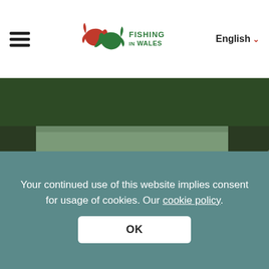Fishing in Wales — header navigation with hamburger menu, logo, and English language selector
[Figure (photo): Group of anglers standing by a river bank, one instructor in light blue shirt and wading trousers addressing the group, trees and green vegetation in background]
Your continued use of this website implies consent for usage of cookies. Our cookie policy.
OK